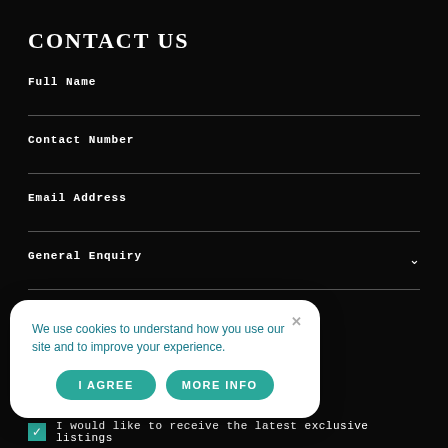CONTACT US
Full Name
Contact Number
Email Address
General Enquiry
Resident
Malta
Other Country
We use cookies to understand how you use our site and to improve your experience.
I AGREE
MORE INFO
I would like to receive the latest exclusive listings